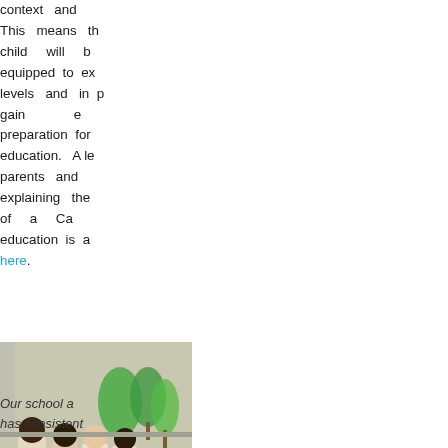context and This means th child will b equipped to exc levels and in p gain e preparation for education. A le parents and explaining the of a Ca education is a here.
[Figure (photo): Group photo of students standing together in a classroom, with green tree decorations visible in the background.]
Our school a has consistent